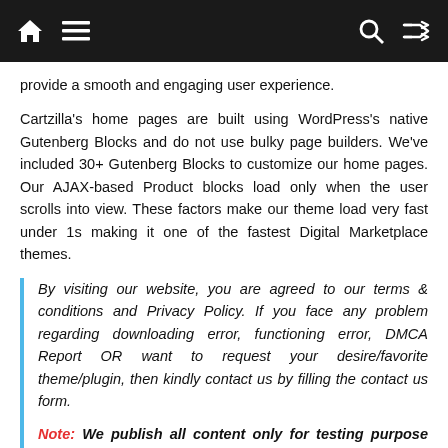Navigation bar with home, menu, search, and shuffle icons
provide a smooth and engaging user experience.
Cartzilla's home pages are built using WordPress's native Gutenberg Blocks and do not use bulky page builders. We've included 30+ Gutenberg Blocks to customize our home pages. Our AJAX-based Product blocks load only when the user scrolls into view. These factors make our theme load very fast under 1s making it one of the fastest Digital Marketplace themes.
By visiting our website, you are agreed to our terms & conditions and Privacy Policy. If you face any problem regarding downloading error, functioning error, DMCA Report OR want to request your desire/favorite theme/plugin, then kindly contact us by filling the contact us form.
Note: We publish all content only for testing purpose not for commercial use, so we strongly recommend you to buy the require plugin/theme etc from original